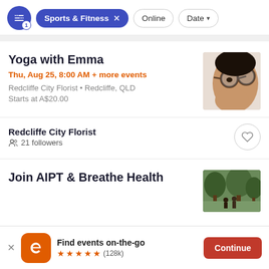Sports & Fitness × Online Date
Yoga with Emma
Thu, Aug 25, 8:00 AM + more events
Redcliffe City Florist • Redcliffe, QLD
Starts at A$20.00
[Figure (photo): Close-up photo of a person wearing round glasses, side/downward profile view]
Redcliffe City Florist
21 followers
Join AIPT & Breathe Health
[Figure (photo): Outdoor photo with trees and people in background]
Find events on-the-go ★★★★★ (128k)